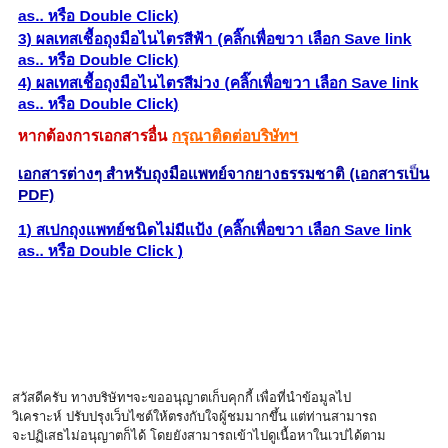as.. หรือ Double Click)
3) ผลเทสเชื้อถุงมือไนไตรสีฟ้า (คลิ๊กเพื่อขวา เลือก Save link as.. หรือ Double Click)
4) ผลเทสเชื้อถุงมือไนไตรสีม่วง (คลิ๊กเพื่อขวา เลือก Save link as.. หรือ Double Click)
หากต้องการเอกสารอื่น กรุณาติดต่อบริษัทฯ
เอกสารต่างๆ สำหรับถุงมือแพทย์จากยางธรรมชาติ (เอกสารเป็น PDF)
1) สเปกถุงแพทย์ชนิดไม่มีแป้ง (คลิ๊กเพื่อขวา เลือก Save link as.. หรือ Double Click )
สวัสดีครับ ทางบริษัทฯจะขออนุญาตเก็บคุกกี้ เพื่อที่นำข้อมูลไปวิเคราะห์ ปรับปรุงเว็บไซต์ให้ตรงกับใจผู้ชมมากขึ้น แต่ท่านสามารถจะปฏิเสธไม่อนุญาตก็ได้ โดยยังสามารถเข้าไปดูเนื้อหาในเวปได้ตาม